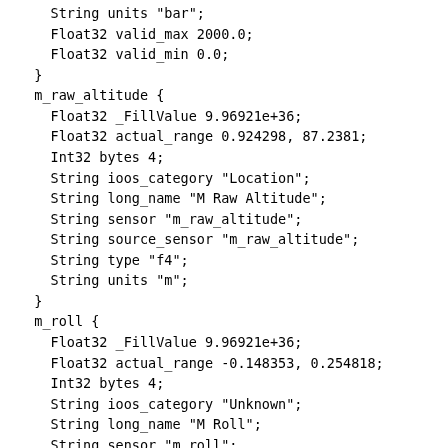String units "bar";
    Float32 valid_max 2000.0;
    Float32 valid_min 0.0;
  }
  m_raw_altitude {
    Float32 _FillValue 9.96921e+36;
    Float32 actual_range 0.924298, 87.2381;
    Int32 bytes 4;
    String ioos_category "Location";
    String long_name "M Raw Altitude";
    String sensor "m_raw_altitude";
    String source_sensor "m_raw_altitude";
    String type "f4";
    String units "m";
  }
  m_roll {
    Float32 _FillValue 9.96921e+36;
    Float32 actual_range -0.148353, 0.254818;
    Int32 bytes 4;
    String ioos_category "Unknown";
    String long_name "M Roll";
    String sensor "m_roll";
    String source_sensor "m_roll";
    String type "f4";
    String units "rad";